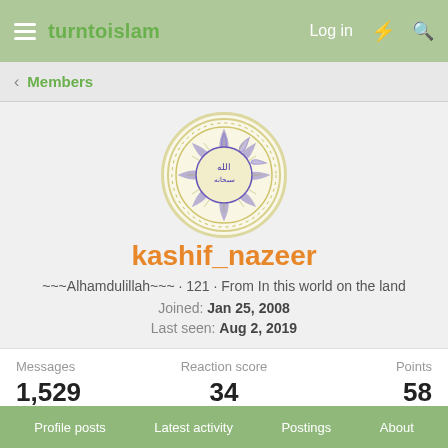turntoislam — Log in
Members
[Figure (illustration): Circular Islamic calligraphy artwork with purple/blue decorative patterns on a cream/yellow background, showing Arabic script in the center surrounded by ornate floral/geometric border]
kashif_nazeer
~~~Alhamdulillah~~~ · 121 · From In this world on the land
Joined: Jan 25, 2008
Last seen: Aug 2, 2019
| Messages | Reaction score | Points |
| --- | --- | --- |
| 1,529 | 34 | 58 |
Find
Profile posts   Latest activity   Postings   About